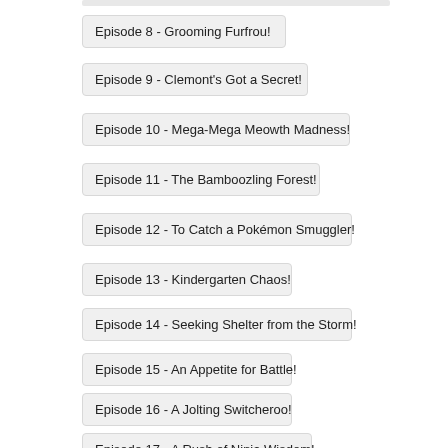Episode 8 - Grooming Furfrou!
Episode 9 - Clemont's Got a Secret!
Episode 10 - Mega-Mega Meowth Madness!
Episode 11 - The Bamboozling Forest!
Episode 12 - To Catch a Pokémon Smuggler!
Episode 13 - Kindergarten Chaos!
Episode 14 - Seeking Shelter from the Storm!
Episode 15 - An Appetite for Battle!
Episode 16 - A Jolting Switcheroo!
Episode 17 - A Rush of Ninja Wisdom!